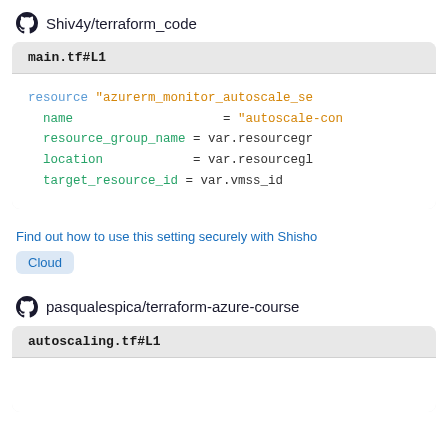Shiv4y/terraform_code
[Figure (screenshot): Code block showing main.tf#L1 with Terraform resource definition for azurerm_monitor_autoscale_se with name, resource_group_name, location, target_resource_id fields]
Find out how to use this setting securely with Shisho Cloud
pasqualespica/terraform-azure-course
[Figure (screenshot): Code block showing autoscaling.tf#L1 with Terraform code (partially visible)]